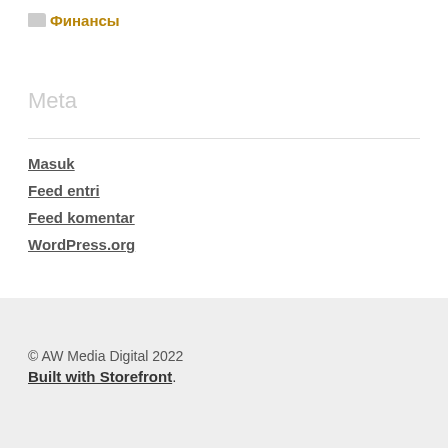Финансы
Meta
Masuk
Feed entri
Feed komentar
WordPress.org
© AW Media Digital 2022
Built with Storefront.